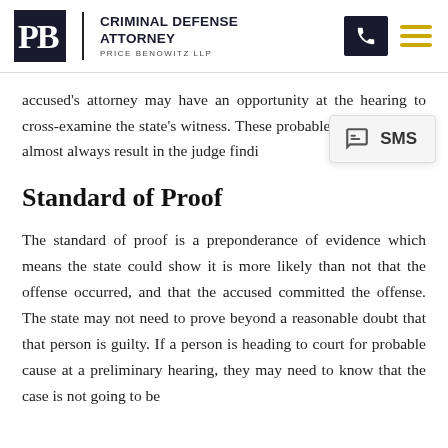Criminal Defense Attorney — Price Benowitz LLP
accused's attorney may have an opportunity at the hearing to cross-examine the state's witness. These probable cause hearings almost always result in the judge finding probable cause.
Standard of Proof
The standard of proof is a preponderance of evidence which means the state could show it is more likely than not that the offense occurred, and that the accused committed the offense. The state may not need to prove beyond a reasonable doubt that that person is guilty. If a person is heading to court for probable cause at a preliminary hearing, they may need to know that the case is not going to be